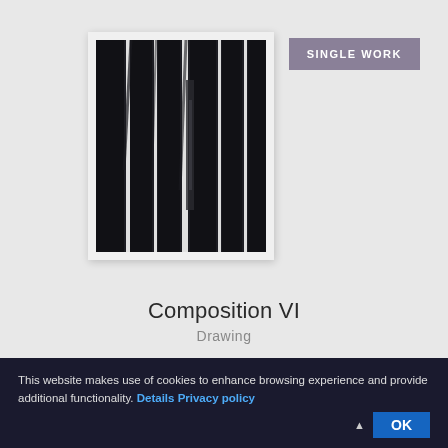[Figure (illustration): A badge/label with muted purple background reading SINGLE WORK in white uppercase letters]
[Figure (photo): Abstract artwork titled Composition VI: a drawing featuring vertical dark/black bands or strips against a white-framed background, resembling a minimalist abstract composition]
Composition VI
Drawing
This website makes use of cookies to enhance browsing experience and provide additional functionality. Details Privacy policy OK